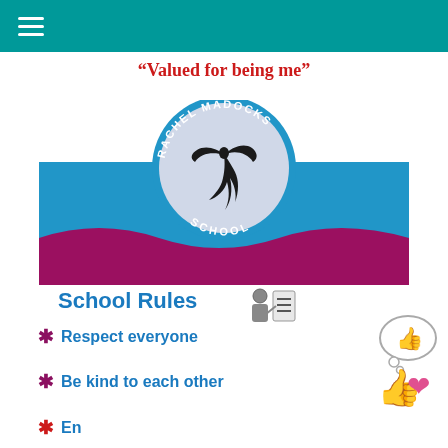≡ (hamburger menu icon)
"Valued for being me"
[Figure (logo): Rachel Madocks School logo: blue banner with circular badge showing an eagle/hawk silhouette, text 'RACHEL MADOCKS SCHOOL' arched around the circle, with a purple/maroon wave at the bottom]
School Rules
Respect everyone
Be kind to each other
(partially visible third rule)